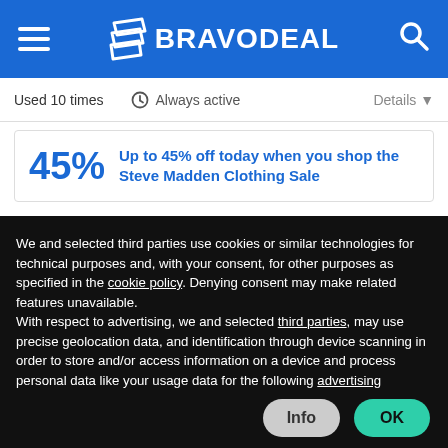BRAVODEAL
Used 10 times   Always active   Details
45%  Up to 45% off today when you shop the Steve Madden Clothing Sale
We and selected third parties use cookies or similar technologies for technical purposes and, with your consent, for other purposes as specified in the cookie policy. Denying consent may make related features unavailable.
With respect to advertising, we and selected third parties, may use precise geolocation data, and identification through device scanning in order to store and/or access information on a device and process personal data like your usage data for the following advertising purposes: personalized ads and content, ad and content measurement, audience insights and product development.
You can freely give, deny, or withdraw your consent at any time by accessing the preferences panel.
You can consent to the use of such technologies by using the “OK” button or by continuing to browse otherwise.